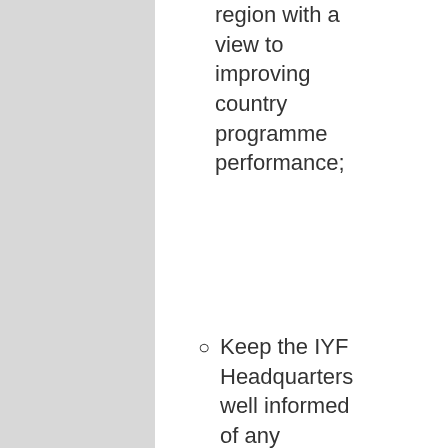region with a view to improving country programme performance;
Keep the IYF Headquarters well informed of any significant organizational issues such as emergencies, conflicts, developments and/or resolutions in the region which affect IYF...